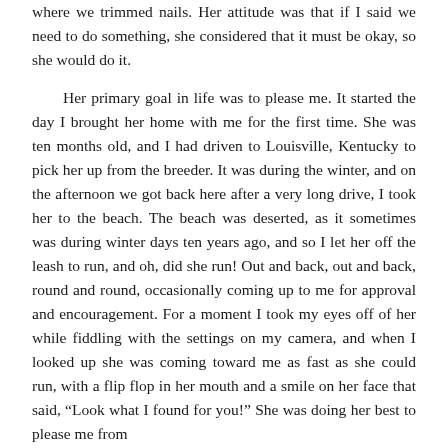where we trimmed nails. Her attitude was that if I said we need to do something, she considered that it must be okay, so she would do it.
Her primary goal in life was to please me. It started the day I brought her home with me for the first time. She was ten months old, and I had driven to Louisville, Kentucky to pick her up from the breeder. It was during the winter, and on the afternoon we got back here after a very long drive, I took her to the beach. The beach was deserted, as it sometimes was during winter days ten years ago, and so I let her off the leash to run, and oh, did she run! Out and back, out and back, round and round, occasionally coming up to me for approval and encouragement. For a moment I took my eyes off of her while fiddling with the settings on my camera, and when I looked up she was coming toward me as fast as she could run, with a flip flop in her mouth and a smile on her face that said, “Look what I found for you!” She was doing her best to please me from